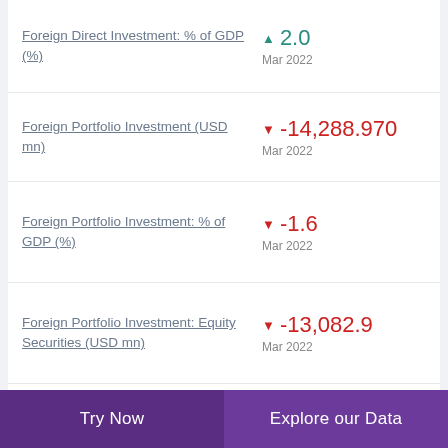Foreign Direct Investment: % of GDP (%) ▲ 2.0 Mar 2022
Foreign Portfolio Investment (USD mn) ▼ -14,288.970 Mar 2022
Foreign Portfolio Investment: % of GDP (%) ▼ -1.6 Mar 2022
Foreign Portfolio Investment: Equity Securities (USD mn) ▼ -13,082.9 Mar 2022
Foreign Portfolio
Try Now   Explore our Data